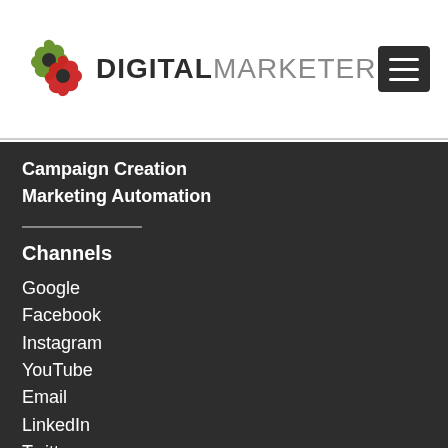[Figure (logo): DigitalMarketer logo with red/green gear icon and bold text DIGITAL followed by lighter MARKETER]
[Figure (other): Hamburger menu icon (three horizontal white lines on dark background)]
Campaign Creation
Marketing Automation
Channels
Google
Facebook
Instagram
YouTube
Email
LinkedIn
Twitter
Pinterest
TikTok
Influencer/Affiliate